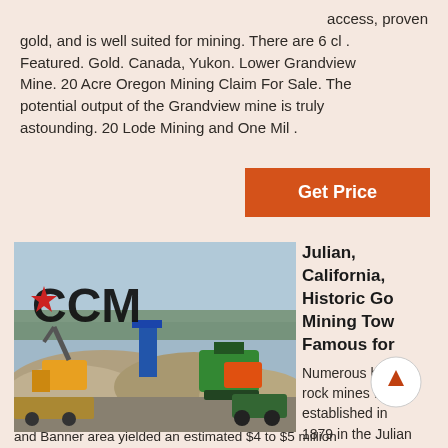access, proven gold, and is well suited for mining. There are 6 cl . Featured. Gold. Canada, Yukon. Lower Grandview Mine. 20 Acre Oregon Mining Claim For Sale. The potential output of the Grandview mine is truly astounding. 20 Lode Mining and One Mil .
Get Price
[Figure (photo): Outdoor mining site with heavy equipment, excavators, large piles of aggregate/gravel, and green machinery. A logo reading 'CCM' with a red star is overlaid in the upper left of the image.]
Julian, California, Historic Gold Mining Town Famous for
Numerous hard rock mines were established in 1879 in the Julian
and Banner area yielded an estimated $4 to $5 million